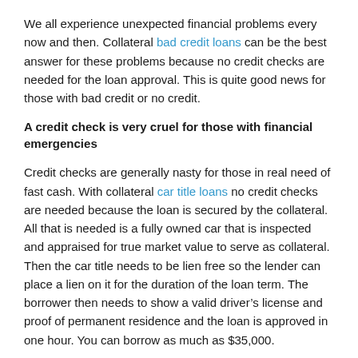We all experience unexpected financial problems every now and then. Collateral bad credit loans can be the best answer for these problems because no credit checks are needed for the loan approval. This is quite good news for those with bad credit or no credit.
A credit check is very cruel for those with financial emergencies
Credit checks are generally nasty for those in real need of fast cash. With collateral car title loans no credit checks are needed because the loan is secured by the collateral. All that is needed is a fully owned car that is inspected and appraised for true market value to serve as collateral. Then the car title needs to be lien free so the lender can place a lien on it for the duration of the loan term. The borrower then needs to show a valid driver’s license and proof of permanent residence and the loan is approved in one hour. You can borrow as much as $35,000.
No more high interest with very short loan terms
Looking at the major benefits of no credit check title loans, aside from not having credit checks and very minimal requirements, borrowers benefit from: